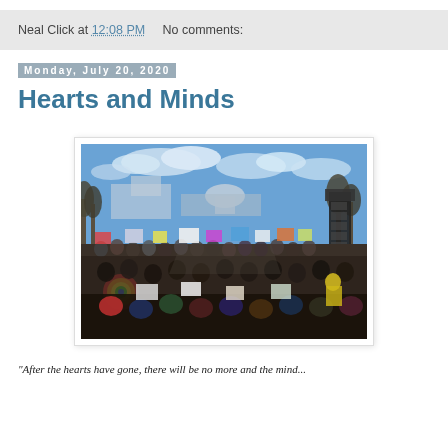Neal Click at 12:08 PM   No comments:
Monday, July 20, 2020
Hearts and Minds
[Figure (photo): Large crowd of protesters holding signs on a wide street, with bare winter trees lining the avenue, blue sky with white clouds overhead, and buildings including what appears to be a government dome in the background. A dark speaker array is visible on the right side.]
"After the hearts have gone, there will be no more and the mind...